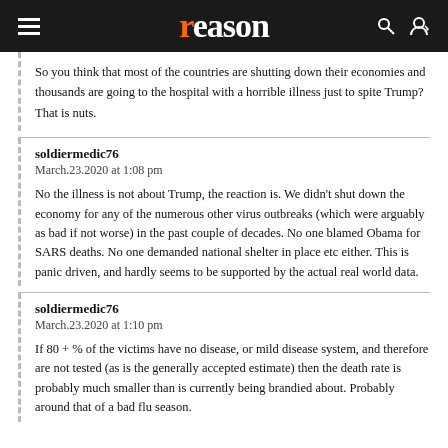reason
So you think that most of the countries are shutting down their economies and thousands are going to the hospital with a horrible illness just to spite Trump? That is nuts.
soldiermedic76
March.23.2020 at 1:08 pm

No the illness is not about Trump, the reaction is. We didn't shut down the economy for any of the numerous other virus outbreaks (which were arguably as bad if not worse) in the past couple of decades. No one blamed Obama for SARS deaths. No one demanded national shelter in place etc either. This is panic driven, and hardly seems to be supported by the actual real world data.
soldiermedic76
March.23.2020 at 1:10 pm

If 80 + % of the victims have no disease, or mild disease system, and therefore are not tested (as is the generally accepted estimate) then the death rate is probably much smaller than is currently being brandied about. Probably around that of a bad flu season.